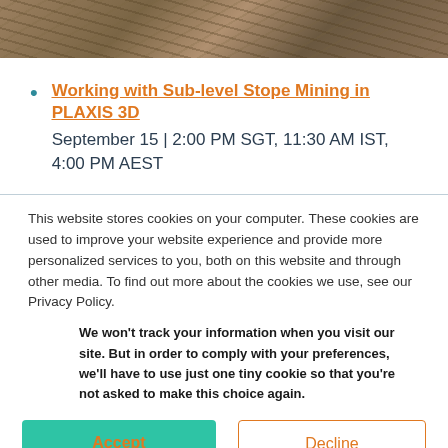[Figure (photo): Aerial or overhead photo of an open-pit mine with terraced rock formations, brownish and grey tones]
Working with Sub-level Stope Mining in PLAXIS 3D
September 15 | 2:00 PM SGT, 11:30 AM IST, 4:00 PM AEST
This website stores cookies on your computer. These cookies are used to improve your website experience and provide more personalized services to you, both on this website and through other media. To find out more about the cookies we use, see our Privacy Policy.
We won't track your information when you visit our site. But in order to comply with your preferences, we'll have to use just one tiny cookie so that you're not asked to make this choice again.
Accept | Decline